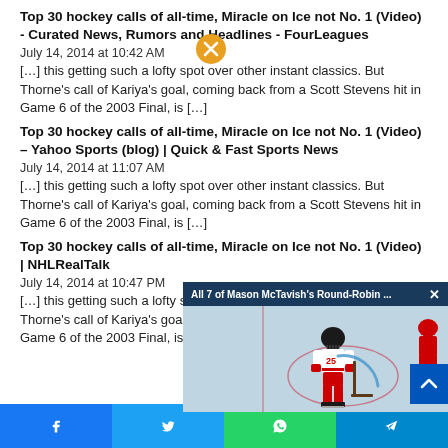Top 30 hockey calls of all-time, Miracle on Ice not No. 1 (Video) - Curated News, Rumors and Headlines - FourLeagues
July 14, 2014 at 10:42 AM
[…] this getting such a lofty spot over other instant classics. But Thorne's call of Kariya's goal, coming back from a Scott Stevens hit in Game 6 of the 2003 Final, is […]
Top 30 hockey calls of all-time, Miracle on Ice not No. 1 (Video) – Yahoo Sports (blog) | Quick & Fast Sports News
July 14, 2014 at 11:07 AM
[…] this getting such a lofty spot over other instant classics. But Thorne's call of Kariya's goal, coming back from a Scott Stevens hit in Game 6 of the 2003 Final, is […]
Top 30 hockey calls of all-time, Miracle on Ice not No. 1 (Video) | NHLRealTalk
July 14, 2014 at 10:47 PM
[…] this getting such a lofty spot over other instant classics. But Thorne's call of Kariya's goal, coming back from a Scott Stevens hit in Game 6 of the 2003 Final, is […]
[Figure (screenshot): Video popup overlay showing 'All 7 of Mason McTavish's Round-Robin ...' with a hockey player on ice rink background (TSN), mute button visible, and close button]
[Figure (infographic): Social sharing bar with Facebook, Twitter, WhatsApp, and Telegram share buttons]